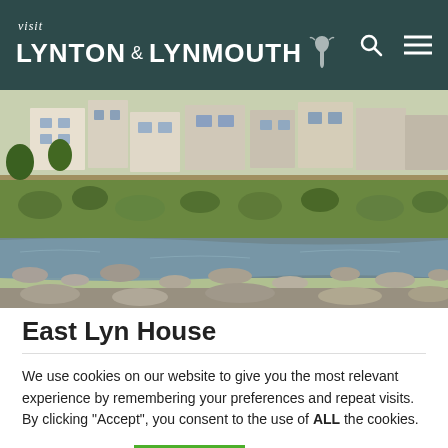visit LYNTON & LYNMOUTH
[Figure (photo): Outdoor photo of Lynmouth village showing stone buildings, vegetation, and the rocky East Lyn river in the foreground]
East Lyn House
We use cookies on our website to give you the most relevant experience by remembering your preferences and repeat visits. By clicking “Accept”, you consent to the use of ALL the cookies.
Cookie settings | ACCEPT